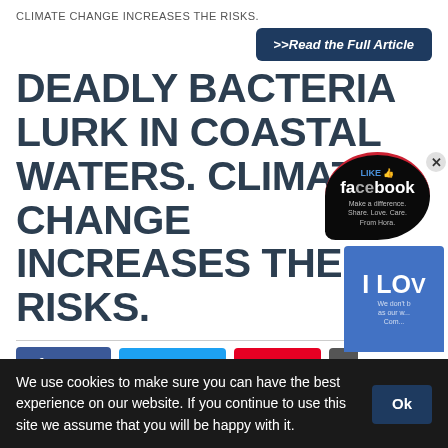CLIMATE CHANGE INCREASES THE RISKS.
>>Read the Full Article
DEADLY BACTERIA LURK IN COASTAL WATERS. CLIMATE CHANGE INCREASES THE RISKS.
Share   Tweet   Pin
[Figure (photo): Photo of trees and sky, nature scene]
[Figure (illustration): Facebook popup overlay with 'I Love' heart sticker]
We use cookies to make sure you can have the best experience on our website. If you continue to use this site we assume that you will be happy with it.   Ok